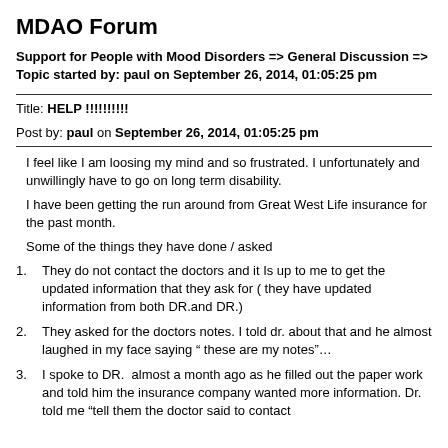MDAO Forum
Support for People with Mood Disorders => General Discussion => Topic started by: paul on September 26, 2014, 01:05:25 pm
Title: HELP !!!!!!!!!!
Post by: paul on September 26, 2014, 01:05:25 pm
I feel like I am loosing my mind and so frustrated. I unfortunately and unwillingly have to go on long term disability.
I have been getting the run around from Great West Life insurance for the past month.
Some of the things they have done / asked
1.   They do not contact the doctors and it Is up to me to get the updated information that they ask for ( they have updated information from both DR.and DR.)
2.   They asked for the doctors notes. I told dr. about that and he almost laughed in my face saying “ these are my notes”…
3.   I spoke to DR.  almost a month ago as he filled out the paper work and told him the insurance company wanted more information. Dr. told me “tell them the doctor said to contact